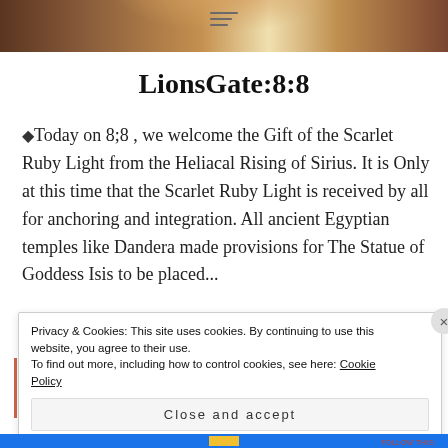[Figure (photo): Brown/tan animal fur texture photo header with hamburger menu icon in center]
LionsGate:8:8
◆Today on 8;8 , we welcome the Gift of the Scarlet Ruby Light from the Heliacal Rising of Sirius. It is Only at this time that the Scarlet Ruby Light is received by all for anchoring and integration. All ancient Egyptian temples like Dandera made provisions for The Statue of Goddess Isis to be placed...
Privacy & Cookies: This site uses cookies. By continuing to use this website, you agree to their use.
To find out more, including how to control cookies, see here: Cookie Policy
Close and accept